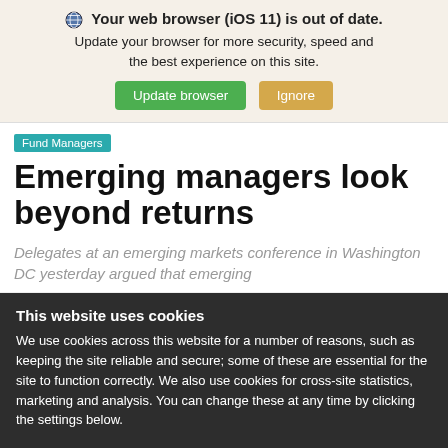Your web browser (iOS 11) is out of date. Update your browser for more security, speed and the best experience on this site. Update browser | Ignore
Fund Managers
Emerging managers look beyond returns
Delegates at an emerging markets conference in Washington DC yesterday argued that emerging
This website uses cookies
We use cookies across this website for a number of reasons, such as keeping the site reliable and secure; some of these are essential for the site to function correctly. We also use cookies for cross-site statistics, marketing and analysis. You can change these at any time by clicking the settings below.